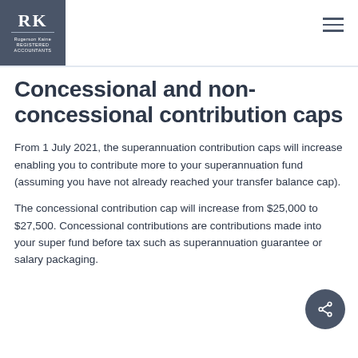RK | Rogerson Kane Registered Accountants
Concessional and non-concessional contribution caps
From 1 July 2021, the superannuation contribution caps will increase enabling you to contribute more to your superannuation fund (assuming you have not already reached your transfer balance cap).
The concessional contribution cap will increase from $25,000 to $27,500. Concessional contributions are contributions made into your super fund before tax such as superannuation guarantee or salary packaging.